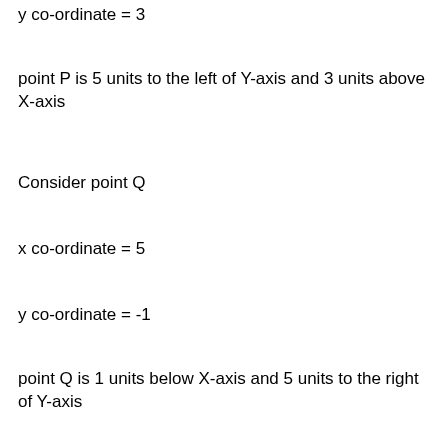y co-ordinate = 3
point P is 5 units to the left of Y-axis and 3 units above X-axis
Consider point Q
x co-ordinate = 5
y co-ordinate = -1
point Q is 1 units below X-axis and 5 units to the right of Y-axis